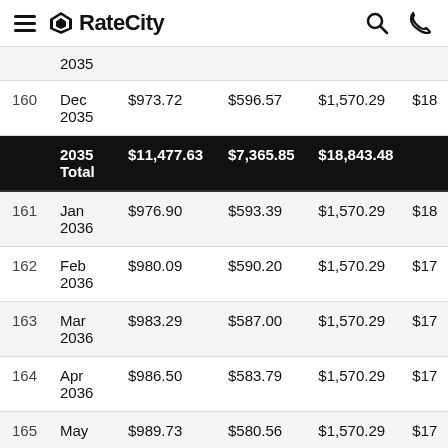RateCity
| # | Date | Principal | Interest | Total Payment | Balance |
| --- | --- | --- | --- | --- | --- |
|  | 2035 |  |  |  |  |
| 160 | Dec 2035 | $973.72 | $596.57 | $1,570.29 | $18... |
|  | 2035 Total | $11,477.63 | $7,365.85 | $18,843.48 |  |
| 161 | Jan 2036 | $976.90 | $593.39 | $1,570.29 | $18... |
| 162 | Feb 2036 | $980.09 | $590.20 | $1,570.29 | $17... |
| 163 | Mar 2036 | $983.29 | $587.00 | $1,570.29 | $17... |
| 164 | Apr 2036 | $986.50 | $583.79 | $1,570.29 | $17... |
| 165 | May 2036 | $989.73 | $580.56 | $1,570.29 | $17... |